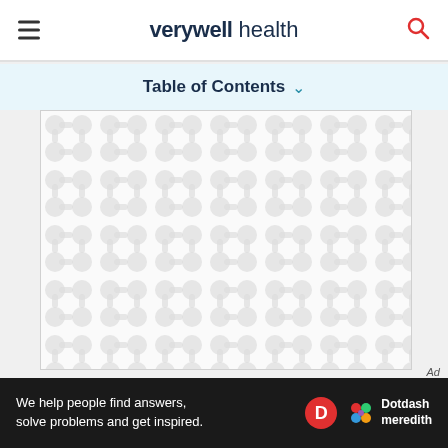verywell health
Table of Contents
[Figure (illustration): Advertisement placeholder with decorative repeating dumbbell/molecule pattern in light gray on white background]
Ad
We help people find answers, solve problems and get inspired. Dotdash meredith